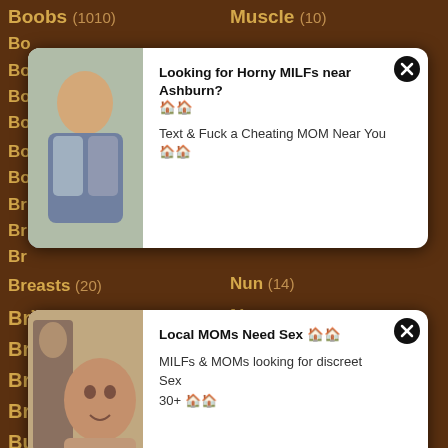Boobs (1010)
Muscle (10)
Bo...
Bo...
Bo...
Bo...
[Figure (other): Advertisement overlay 1: Looking for Horny MILFs near Ashburn? Text & Fuck a Cheating MOM Near You]
Bottle (6)
Neighbor (76)
Bo...
Br...
Br...
Br...
[Figure (other): Advertisement overlay 2: Local MOMs Need Sex. MILFs & MOMs looking for discreet Sex 30+]
Breasts (20)
Nun (14)
Bride (18)
Nurse (81)
British (243)
Nylon (57)
Brunette (2617)
Nympho (18)
Brutal (242)
Office (140)
Bukkake (121)
Oiled (18)
Bulgarian (5)
Old (1408)
Bunny (15)
Oral (104)
Bus (568)
Orgasm (694)